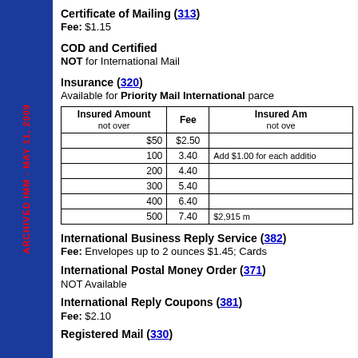ARCHIVED IMM - MAY 11, 2009
Certificate of Mailing (313)
Fee: $1.15
COD and Certified
NOT for International Mail
Insurance (320)
Available for Priority Mail International parce
| Insured Amount not over | Fee | Insured Am not ove |
| --- | --- | --- |
| $50 | $2.50 |  |
| 100 | 3.40 | Add $1.00 for each additio |
| 200 | 4.40 |  |
| 300 | 5.40 |  |
| 400 | 6.40 |  |
| 500 | 7.40 | $2,915 m |
International Business Reply Service (382)
Fee: Envelopes up to 2 ounces $1.45; Cards
International Postal Money Order (371)
NOT Available
International Reply Coupons (381)
Fee: $2.10
Registered Mail (330)